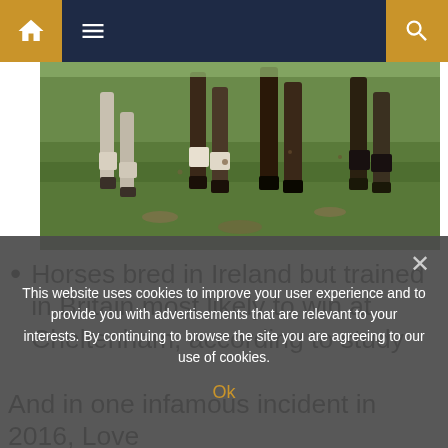Navigation bar with home, menu, and search icons
[Figure (photo): Close-up photo of horse legs running on grass at Cheltenham]
Horses bred in Ireland but trained in Britain most likely to win at Cheltenham, according to study
And in one infamous incident in 2016, Love
This website uses cookies to improve your user experience and to provide you with advertisements that are relevant to your interests. By continuing to browse the site you are agreeing to our use of cookies. Ok